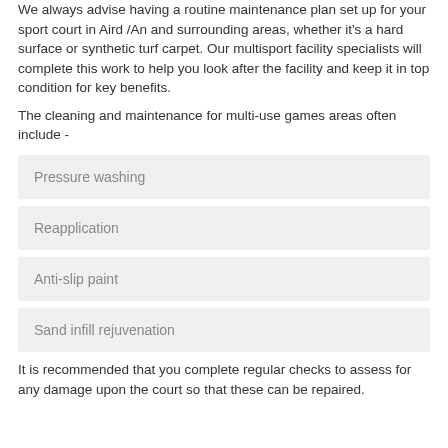We always advise having a routine maintenance plan set up for your sport court in Aird /An and surrounding areas, whether it's a hard surface or synthetic turf carpet. Our multisport facility specialists will complete this work to help you look after the facility and keep it in top condition for key benefits.
The cleaning and maintenance for multi-use games areas often include -
Pressure washing
Reapplication
Anti-slip paint
Sand infill rejuvenation
It is recommended that you complete regular checks to assess for any damage upon the court so that these can be repaired.